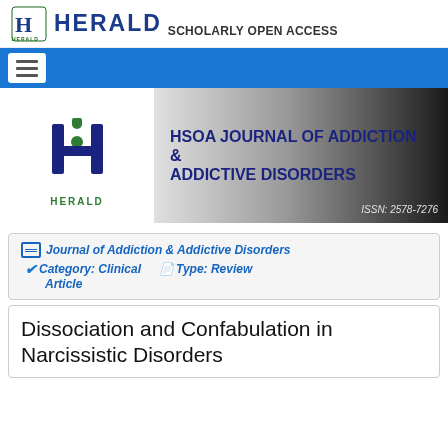HERALD SCHOLARLY OPEN ACCESS
[Figure (logo): HERALD Scholarly Open Access logo with green H emblem]
[Figure (logo): HSOA Journal of Addiction & Addictive Disorders banner with HERALD logo and ISSN: 2578-7276]
Journal of Addiction & Addictive Disorders  Category: Clinical  Type: Review Article
Dissociation and Confabulation in Narcissistic Disorders